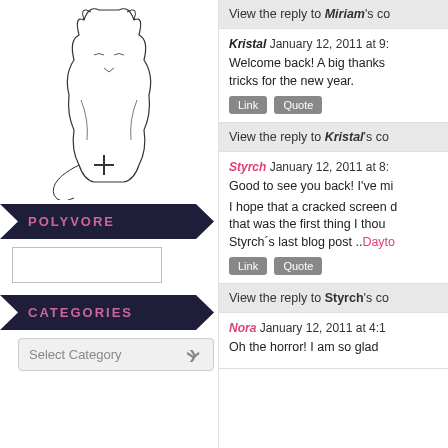[Figure (illustration): Line drawing/sketch of a cat or animal figure with a plus/cross symbol below it]
POLYVORE
[Figure (photo): Small placeholder image thumbnail]
CATEGORIES
Select Category
View the reply to Miriam's co
Kristal January 12, 2011 at 9: Welcome back! A big thanks tricks for the new year.
View the reply to Kristal's co
Styrch January 12, 2011 at 8: Good to see you back! I've mi I hope that a cracked screen d that was the first thing I thou Styrch's last blog post ..Dayto
View the reply to Styrch's co
Nora January 12, 2011 at 4:1 Oh the horror! I am so glad